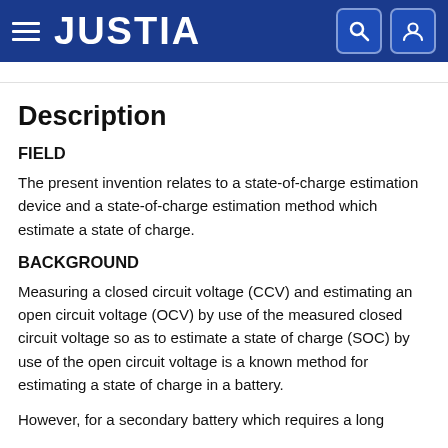JUSTIA
Description
FIELD
The present invention relates to a state-of-charge estimation device and a state-of-charge estimation method which estimate a state of charge.
BACKGROUND
Measuring a closed circuit voltage (CCV) and estimating an open circuit voltage (OCV) by use of the measured closed circuit voltage so as to estimate a state of charge (SOC) by use of the open circuit voltage is a known method for estimating a state of charge in a battery.
However, for a secondary battery which requires a long